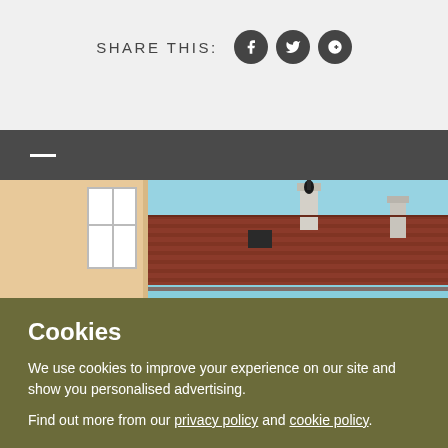SHARE THIS:
[Figure (screenshot): Social media share icons: Facebook, Twitter, Google+]
[Figure (photo): Photo of building rooftop with terracotta tiles, chimney, and sky. Left portion shows a cream/tan building wall with a window.]
Cookies
We use cookies to improve your experience on our site and show you personalised advertising.
Find out more from our privacy policy and cookie policy.
ACCEPT ALL AND CLOSE
Your options